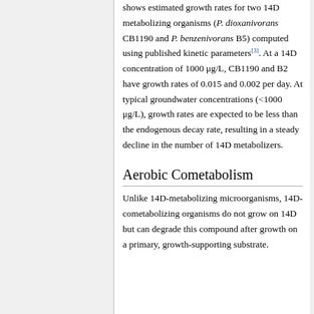shows estimated growth rates for two 14D metabolizing organisms (P. dioxanivorans CB1190 and P. benzenivorans B5) computed using published kinetic parameters[3]. At a 14D concentration of 1000 μg/L, CB1190 and B2 have growth rates of 0.015 and 0.002 per day. At typical groundwater concentrations (<1000 μg/L), growth rates are expected to be less than the endogenous decay rate, resulting in a steady decline in the number of 14D metabolizers.
Aerobic Cometabolism
Unlike 14D-metabolizing microorganisms, 14D-cometabolizing organisms do not grow on 14D but can degrade this compound after growth on a primary, growth-supporting substrate.